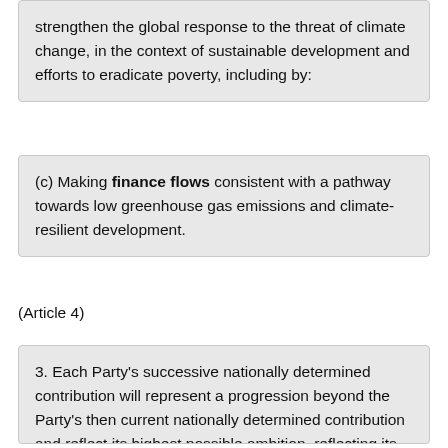strengthen the global response to the threat of climate change, in the context of sustainable development and efforts to eradicate poverty, including by:
(c) Making finance flows consistent with a pathway towards low greenhouse gas emissions and climate-resilient development.
(Article 4)
3. Each Party's successive nationally determined contribution will represent a progression beyond the Party's then current nationally determined contribution and reflect its highest possible ambition, reflecting its common but differentiated responsibilities and respective capabilities, in the light of different national circumstances.